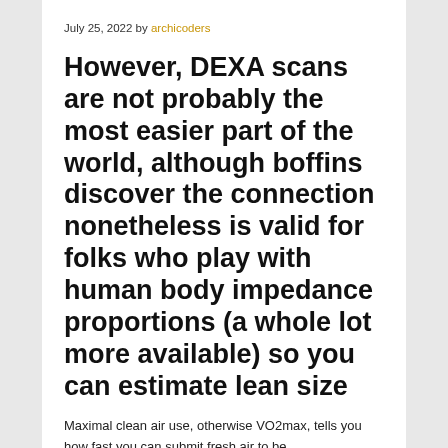July 25, 2022 by archicoders
However, DEXA scans are not probably the most easier part of the world, although boffins discover the connection nonetheless is valid for folks who play with human body impedance proportions (a whole lot more available) so you can estimate lean size
Maximal clean air use, otherwise VO2max, tells you how fast you can submit fresh air to be